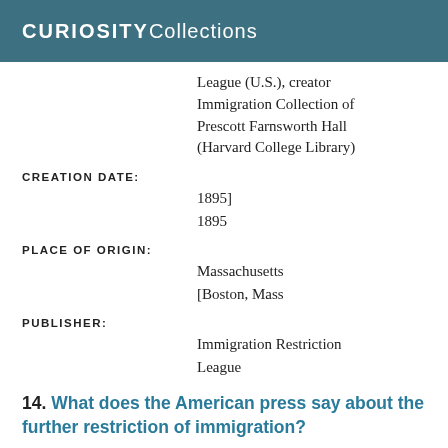CURIOSITY Collections
League (U.S.), creator
Immigration Collection of Prescott Farnsworth Hall (Harvard College Library)
CREATION DATE:
1895]
1895
PLACE OF ORIGIN:
Massachusetts
[Boston, Mass
PUBLISHER:
Immigration Restriction League
14. What does the American press say about the further restriction of immigration?